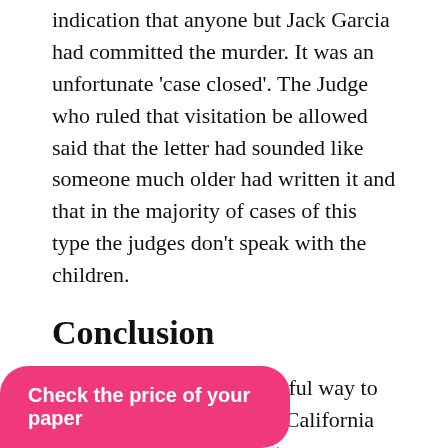indication that anyone but Jack Garcia had committed the murder. It was an unfortunate 'case closed'. The Judge who ruled that visitation be allowed said that the letter had sounded like someone much older had written it and that in the majority of cases of this type the judges don't speak with the children.
Conclusion
Murder/Homicide is an awful way to die. Statistics support that California and National homicide rates are gradually rising while the Butte County, California, homicide rate is falling. Interestingly, homicide rates per 100,000 people were on a slight decline. Again, Butte's high murder rate during 2001 acts as an outlier and could be thrown out of the statistical analysis. But, the 2001 outlier was left in …ome (results). What …murders are not as